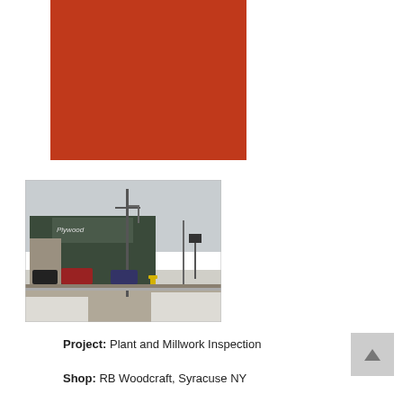[Figure (illustration): Solid rust/terracotta red rectangle, placeholder image block]
[Figure (photo): Exterior photo of an industrial/commercial building with a green facade, sign reading 'Plywood', a utility pole, vehicles parked in front, snow on ground, winter scene in Syracuse NY]
Project: Plant and Millwork Inspection
Shop: RB Woodcraft, Syracuse NY